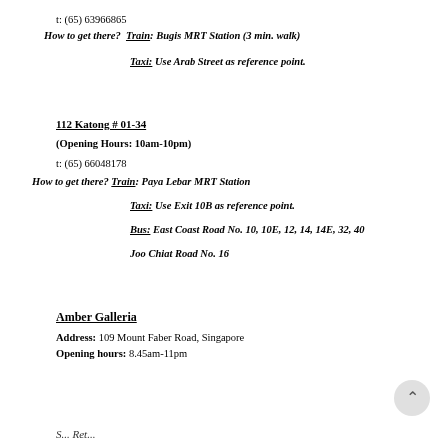t: (65) 63966865
How to get there?  Train: Bugis MRT Station (3 min. walk)
Taxi: Use Arab Street as reference point.
112 Katong # 01-34
(Opening Hours: 10am-10pm)
t: (65) 66048178
How to get there?  Train: Paya Lebar MRT Station
Taxi: Use Exit 10B as reference point.
Bus: East Coast Road No. 10, 10E, 12, 14, 14E, 32, 40
Joo Chiat Road No. 16
Amber Galleria
Address: 109 Mount Faber Road, Singapore
Opening hours: 8.45am-11pm